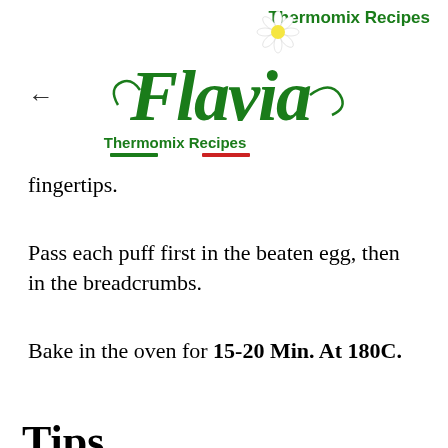Thermomix Recipes
[Figure (logo): Flavia Thermomix Recipes logo with cursive green text 'Flavia', a daisy flower, and 'Thermomix Recipes' text with Italian flag colored underlines]
fingertips.
Pass each puff first in the beaten egg, then in the breadcrumbs.
Bake in the oven for 15-20 Min. At 180C.
Tips
For this recipe I opted for a classic filling, with